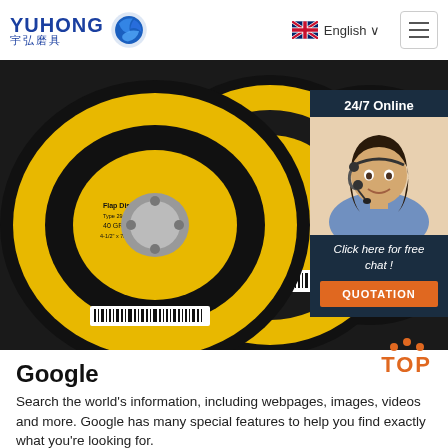[Figure (logo): Yuhong 宇弘磨具 logo with blue wave/globe icon]
[Figure (screenshot): Navigation bar with UK flag, English language selector, and hamburger menu icon]
[Figure (photo): Photo of yellow and black abrasive flap discs / grinding wheels stacked together]
[Figure (infographic): 24/7 Online chat widget with female customer service agent, 'Click here for free chat!' text, and orange QUOTATION button]
Google
Search the world's information, including webpages, images, videos and more. Google has many special features to help you find exactly what you're looking for.
[Figure (other): Orange TOP navigation button with three dots above and bold TOP text]